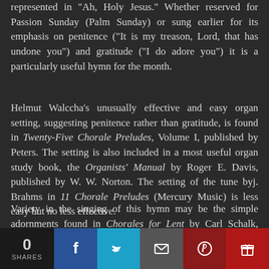represented in "Ah, Holy Jesus." Whether reserved for Passion Sunday (Palm Sunday) or sung earlier for its emphasis on penitence ("It is my treason, Lord, that has undone you") and gratitude ("I do adore you") it is a particularly useful hymn for the month.
Helmut Walccha's unusually effective and easy organ setting, suggesting penitence rather than gratitude, is found in Twenty-Five Chorale Preludes, Volume I, published by Peters. The setting is also included in a most useful organ study book, the Organists' Manual by Roger E. Davis, published by W. W. Norton. The setting of the tune by J. Brahms in 11 Chorale Preludes (Mercury Music) is less easy but no less effective.
Variety in the singing of this hymn may be the simple adornments found in Chorales for Lent by Carl Schalk, published by Concordia. Each chorale in the set is presented in three forms: as a solo melody/to
[Figure (infographic): Social sharing bar at the bottom with share count of 0, Facebook, Twitter, Email, Pinterest, and Gift icons]